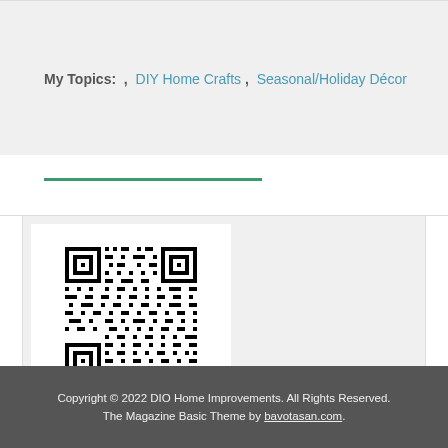My Topics:  , DIY Home Crafts , Seasonal/Holiday Décor
[Figure (other): QR code image in a white card on a light gray background]
Copyright © 2022 DIO Home Improvements. All Rights Reserved. The Magazine Basic Theme by bavotasan.com.